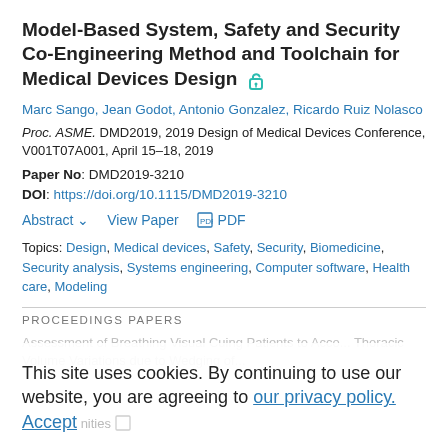Model-Based System, Safety and Security Co-Engineering Method and Toolchain for Medical Devices Design
Marc Sango, Jean Godot, Antonio Gonzalez, Ricardo Ruiz Nolasco
Proc. ASME. DMD2019, 2019 Design of Medical Devices Conference, V001T07A001, April 15–18, 2019
Paper No: DMD2019-3210
DOI: https://doi.org/10.1115/DMD2019-3210
Abstract ∨   View Paper   PDF
Topics: Design, Medical devices, Safety, Security, Biomedicine, Security analysis, Systems engineering, Computer software, Health care, Modeling
PROCEEDINGS PAPERS
This site uses cookies. By continuing to use our website, you are agreeing to our privacy policy. Accept